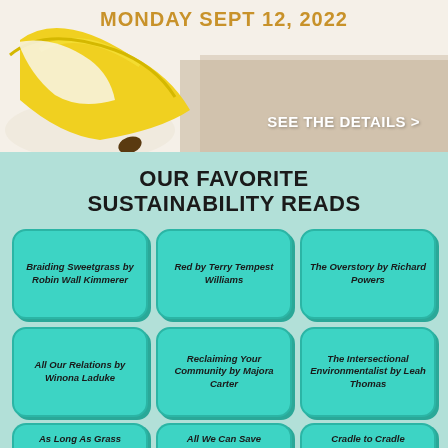MONDAY SEPT 12, 2022
SEE THE DETAILS >
OUR FAVORITE SUSTAINABILITY READS
Braiding Sweetgrass by Robin Wall Kimmerer
Red by Terry Tempest Williams
The Overstory by Richard Powers
All Our Relations by Winona Laduke
Reclaiming Your Community by Majora Carter
The Intersectional Environmentalist by Leah Thomas
As Long As Grass
All We Can Save
Cradle to Cradle